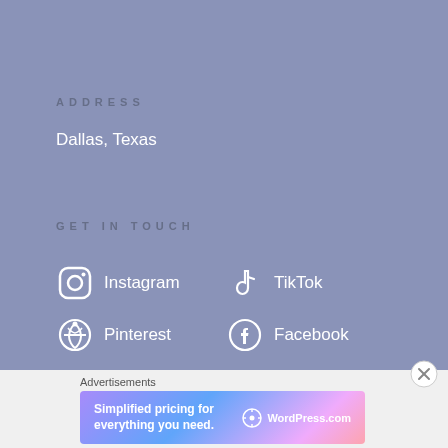ADDRESS
Dallas, Texas
GET IN TOUCH
Instagram
TikTok
Pinterest
Facebook
Advertisements
[Figure (other): WordPress.com advertisement banner reading 'Simplified pricing for everything you need.']